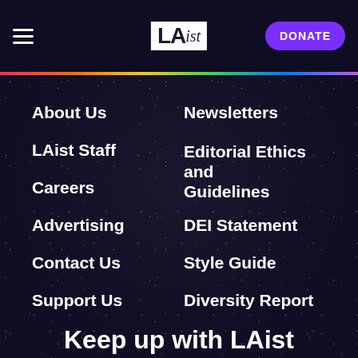LAist — DONATE
About Us
LAist Staff
Careers
Advertising
Contact Us
Support Us
Newsletters
Editorial Ethics and Guidelines
DEI Statement
Style Guide
Diversity Report
Keep up with LAist